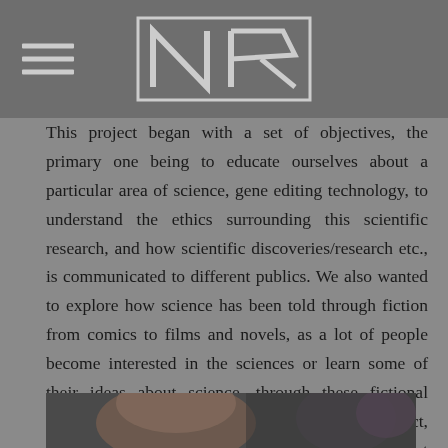NR logo and hamburger menu
This project began with a set of objectives, the primary one being to educate ourselves about a particular area of science, gene editing technology, to understand the ethics surrounding this scientific research, and how scientific discoveries/research etc., is communicated to different publics. We also wanted to explore how science has been told through fiction from comics to films and novels, as a lot of people become interested in the sciences or learn some of their ideas about science, through these fictional forms, a lot of which are grounded in scientific fact, or imagining scientific futures based on current research, or simply imagining a technological future that will come to [word].
[Figure (photo): Partial photograph visible at bottom of page, showing a person's face/head, cropped]